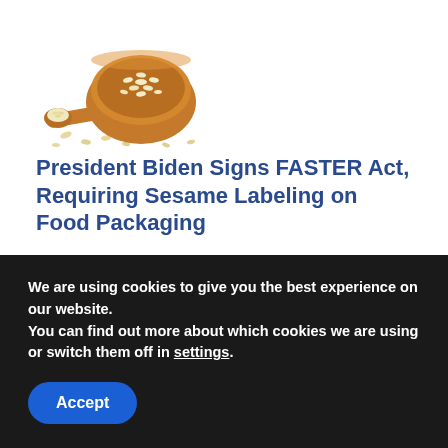[Figure (photo): A wooden bowl filled with white sesame seeds with a wooden scoop beside it, sesame seeds scattered around on a white background]
President Biden Signs FASTER Act, Requiring Sesame Labeling on Food Packaging
The law expands the definition of major food allergen to include sesame.
We are using cookies to give you the best experience on our website.
You can find out more about which cookies we are using or switch them off in settings.
Accept